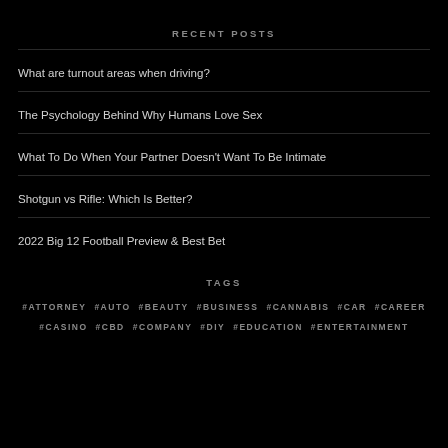RECENT POSTS
What are turnout areas when driving?
The Psychology Behind Why Humans Love Sex
What To Do When Your Partner Doesn't Want To Be Intimate
Shotgun vs Rifle: Which Is Better?
2022 Big 12 Football Preview & Best Bet
TAGS
#ATTORNEY
#AUTO
#BEAUTY
#BUSINESS
#CANNABIS
#CAR
#CAREER
#CASINO
#CBD
#COMPANY
#DIY
#EDUCATION
#ENTERTAINMENT